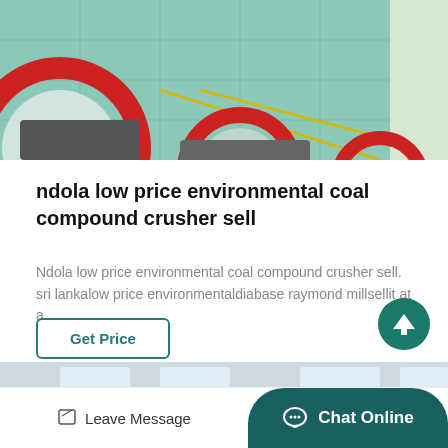[Figure (photo): Industrial crusher machine parts with red rings on green tiled floor]
ndola low price environmental coal compound crusher sell
Ndola low price environmental coal compound crusher sell. sri lankalow price environmentaldiabase raymond millsellit at a…
Get Price
[Figure (photo): Industrial crusher machines in a factory with red and white parts]
Leave Message  Chat Online